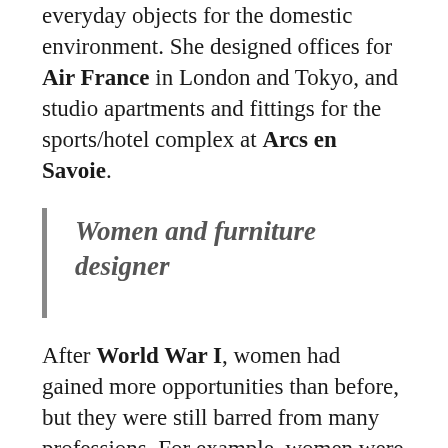everyday objects for the domestic environment. She designed offices for Air France in London and Tokyo, and studio apartments and fittings for the sports/hotel complex at Arcs en Savoie.
Women and furniture designer
After World War I, women had gained more opportunities than before, but they were still barred from many professions. For example, women were welcome at the Bauhaus, but they were not allowed to study furniture making or architecture, and nearly all were shunted to the weaving workshop. Within this context, along came the 24-year-old art school-grad